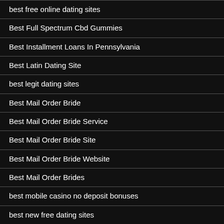best free online dating sites
Best Full Spectrum Cbd Gummies
Best Installment Loans In Pennsylvania
Best Latin Dating Site
best legit dating sites
Best Mail Order Bride
Best Mail Order Bride Service
Best Mail Order Bride Site
Best Mail Order Bride Website
Best Mail Order Brides
best mobile casino no deposit bonuses
best new free dating sites